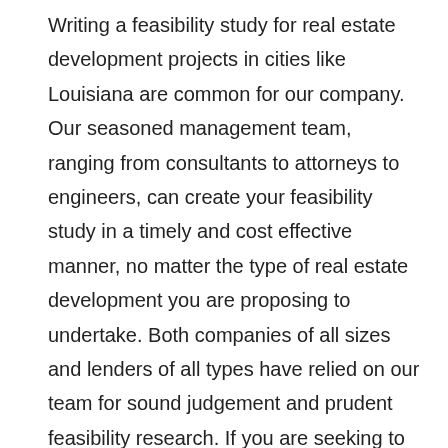Writing a feasibility study for real estate development projects in cities like Louisiana are common for our company. Our seasoned management team, ranging from consultants to attorneys to engineers, can create your feasibility study in a timely and cost effective manner, no matter the type of real estate development you are proposing to undertake. Both companies of all sizes and lenders of all types have relied on our team for sound judgement and prudent feasibility research. If you are seeking to work with a firm that takes an active interest in your real estate project, need top market and industry data while saving your company needed resources and time, our firm can assist. We offer a suite of services that are specific tailored to your real estate development in Louisiana. Here are some of the services we provide.